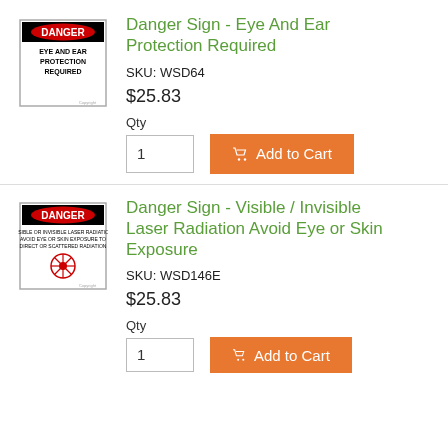[Figure (illustration): Danger sign with red oval 'DANGER' header and text 'EYE AND EAR PROTECTION REQUIRED' on white background with black border]
Danger Sign - Eye And Ear Protection Required
SKU: WSD64
$25.83
Qty
1
Add to Cart
[Figure (illustration): Danger sign with red oval 'DANGER' header and laser radiation warning text with red laser symbol graphic on white background with black border]
Danger Sign - Visible / Invisible Laser Radiation Avoid Eye or Skin Exposure
SKU: WSD146E
$25.83
Qty
1
Add to Cart